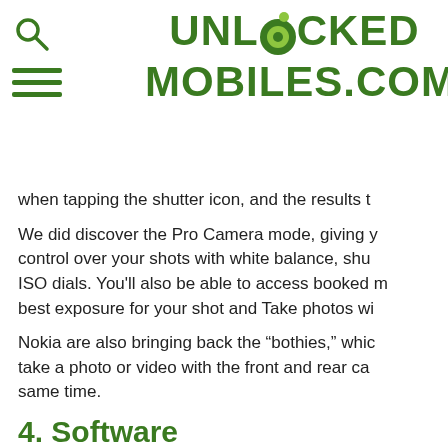UNLOCKED MOBILES.COM
when tapping the shutter icon, and the results t
We did discover the Pro Camera mode, giving y control over your shots with white balance, shu ISO dials. You'll also be able to access booked m best exposure for your shot and Take photos wi
Nokia are also bringing back the “bothies,” whic take a photo or video with the front and rear ca same time.
4. Software